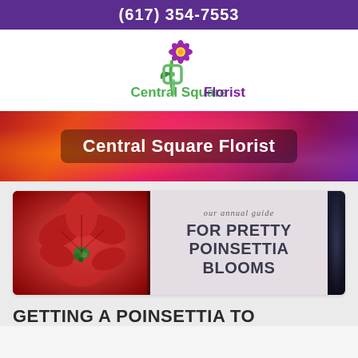(617) 354-7553
[Figure (logo): Central Square Florist logo with green stem, purple flower, and green/purple text]
[Figure (photo): Hero banner with colorful flower arrangement photo and 'Central Square Florist' text overlay]
[Figure (photo): Blog card with red poinsettia photo on left and text 'our annual guide FOR PRETTY POINSETTIA BLOOMS' on right]
GETTING A POINSETTIA TO